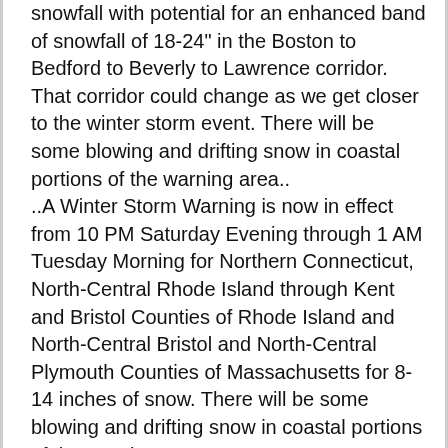snowfall with potential for an enhanced band of snowfall of 18-24" in the Boston to Bedford to Beverly to Lawrence corridor. That corridor could change as we get closer to the winter storm event. There will be some blowing and drifting snow in coastal portions of the warning area..
..A Winter Storm Warning is now in effect from 10 PM Saturday Evening through 1 AM Tuesday Morning for Northern Connecticut, North-Central Rhode Island through Kent and Bristol Counties of Rhode Island and North-Central Bristol and North-Central Plymouth Counties of Massachusetts for 8-14 inches of snow. There will be some blowing and drifting snow in coastal portions of the warning area..
..A Winter Storm Watch is now in effect from Sunday Morning to late Monday Night for Washington and Newport Counties of Rhode Island and Southern Bristol, Southern Plymouth and Barnstable Counties of Massachusetts for 4-8" of snow and a trace of ice